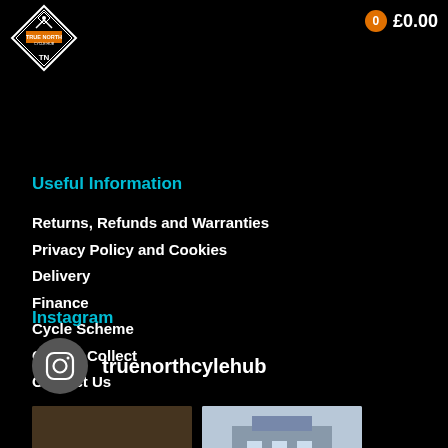[Figure (logo): True North Cycle Hub diamond logo with orange/white text]
0  £0.00
Useful Information
Returns, Refunds and Warranties
Privacy Policy and Cookies
Delivery
Finance
Cycle Scheme
Click & Collect
Contact Us
Instagram
truenorthcylehub
[Figure (photo): Two small Instagram thumbnail photos at the bottom of the page]